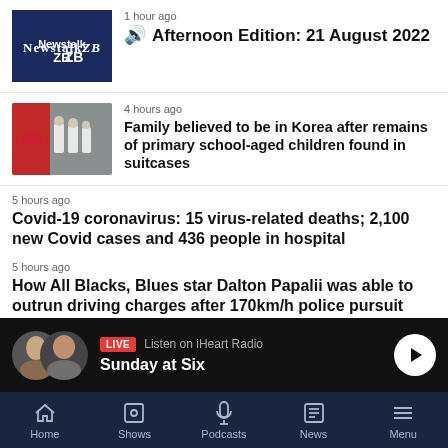[Figure (screenshot): Newstalk ZB podcast thumbnail - dark blue background with Newstalk ZB logo in white text]
1 hour ago
🔊 Afternoon Edition: 21 August 2022
[Figure (photo): Photo of people in white protective suits near a red car]
4 hours ago
Family believed to be in Korea after remains of primary school-aged children found in suitcases
5 hours ago
Covid-19 coronavirus: 15 virus-related deaths; 2,100 new Covid cases and 436 people in hospital
5 hours ago
How All Blacks, Blues star Dalton Papalii was able to outrun driving charges after 170km/h police pursuit
5 hours ago
Bluebridge Cook Strait ferry suffers propeller 'fault', returns to Wellington port
[Figure (screenshot): LIVE radio bar with two host photos, LIVE badge, Listen on iHeart Radio text, Sunday at Six show title, and play button]
Home  Shows  Podcasts  News  Menu